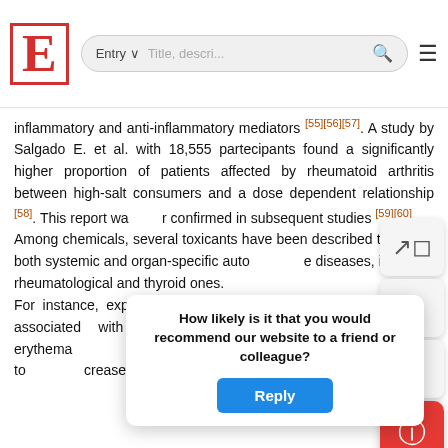Encyclopedia website header with logo, search bar (Entry | Title, descri...), search icon, and menu icon
inflammatory and anti-inflammatory mediators [55][56][57]. A study by Salgado E. et al. with 18,555 partecipants found a significantly higher proportion of patients affected by rheumatoid arthritis between high-salt consumers and a dose dependent relationship [58]. This report was later confirmed in subsequent studies [59][60]. Among chemicals, several toxicants have been described to induce both systemic and organ-specific autoimmune diseases, including rheumatological and thyroid ones. For instance, exposure to silica and asbestos was found to be associated with the developing of systemic erythematosus lupus, rheumatoid arthritis and vasculitis while mercury exposure leads to crease in pro-inflammatory cytokines and alteration of
How likely is it that you would recommend our website to a friend or colleague? Reply